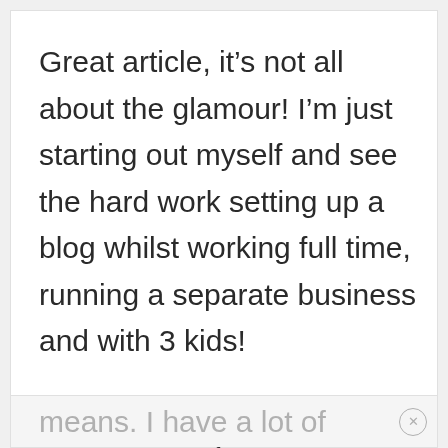Great article, it’s not all about the glamour! I’m just starting out myself and see the hard work setting up a blog whilst working full time, running a separate business and with 3 kids!

But the ends justifies the
means. I have a lot of